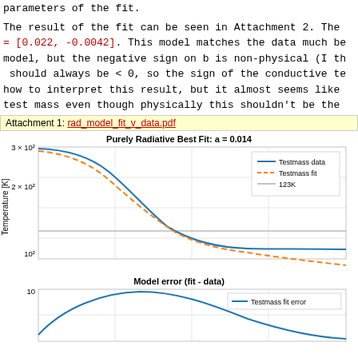parameters of the fit.
The result of the fit can be seen in Attachment 2. The = [0.022, -0.0042]. This model matches the data much be model, but the negative sign on b is non-physical (I th should always be < 0, so the sign of the conductive te how to interpret this result, but it almost seems like test mass even though physically this shouldn't be the
Attachment 1: rad_model_fit_v_data.pdf
[Figure (continuous-plot): Top plot: Purely Radiative Best Fit: a = 0.014. Log-scale y-axis (Temperature [K]) from 10^2 to 3x10^2. Shows blue solid line (Testmass data) and orange dashed line (Testmass fit) both decreasing from ~300K on the left, converging near right side. A gray horizontal line labeled 123K is shown. Bottom plot: Model error (fit - data). Blue solid line (Testmass fit error) rises to peak ~10 then decreases.]